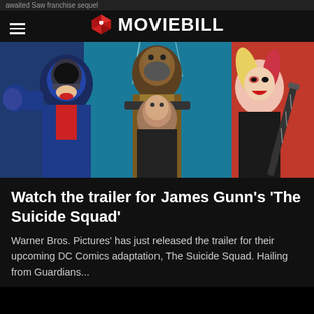awaited Saw franchise sequel
[Figure (logo): MovieBill logo with red cube icon and white bold text 'MOVIEBILL']
[Figure (photo): Movie poster style image from The Suicide Squad featuring several characters including Peacemaker in a blue and red costume, Bloodsport in the center with a beard holding guns, a young male character in front, and Harley Quinn on the right with blonde pigtails and red-tipped hair, against a red and blue background]
Watch the trailer for James Gunn's 'The Suicide Squad'
Warner Bros. Pictures' has just released the trailer for their upcoming DC Comics adaptation, The Suicide Squad. Hailing from Guardians...